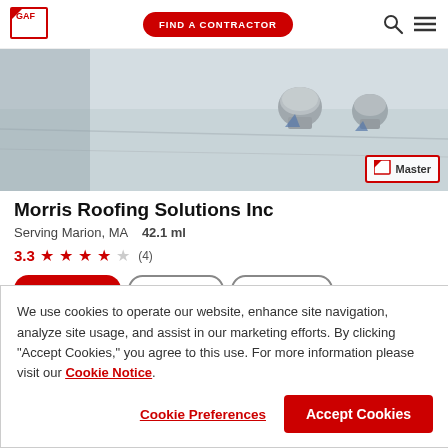[Figure (logo): GAF logo with red square bracket outline and text 'GAF']
[Figure (screenshot): Navigation bar with 'FIND A CONTRACTOR' red pill button, search icon, and hamburger menu]
[Figure (photo): Hero photo of a white flat roof with metal vents/fans and a 'Master' Elite badge overlay in bottom right]
Morris Roofing Solutions Inc
Serving Marion, MA   42.1 ml
3.3 ★★★★☆ (4)
MESSAGE US | (401) 722-2229 | VIEW PROFILE
We use cookies to operate our website, enhance site navigation, analyze site usage, and assist in our marketing efforts. By clicking "Accept Cookies," you agree to this use. For more information please visit our Cookie Notice.
Cookie Preferences | Accept Cookies